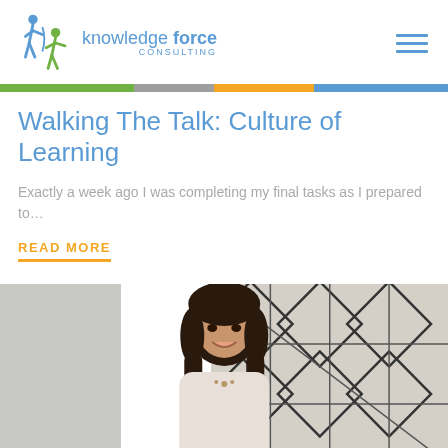knowledge force CONSULTING
Walking The Talk: Culture of Learning
Exactly a week ago I was completing my final tasks as I prepared to…
READ MORE
[Figure (photo): Photo of a smiling woman with dark hair in a professional setting with geometric patterned background]